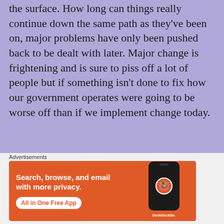the surface.  How long can things really continue down the same path as they've been on, major problems have only been pushed back to be dealt with later.  Major change is frightening and is sure to piss off a lot of people but if something isn't done to fix how our government operates were going to be worse off than if we implement change today.
Advertisements
[Figure (screenshot): Advertisement banner split into two halves: left side showing a blurred photo of people, right side showing dark navy background with a large white letter P logo]
Advertisements
[Figure (screenshot): DuckDuckGo advertisement on orange background. Text reads: Search, browse, and email with more privacy. All in One Free App. Right side shows a phone mockup with the DuckDuckGo logo and text.]